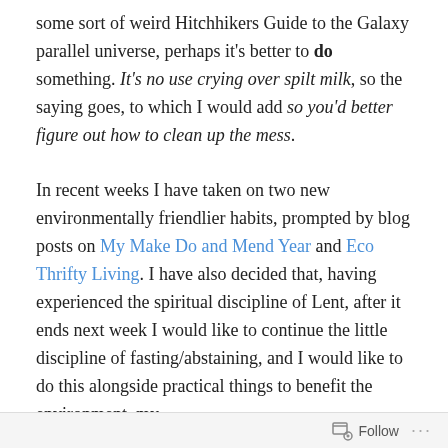some sort of weird Hitchhikers Guide to the Galaxy parallel universe, perhaps it's better to do something. It's no use crying over spilt milk, so the saying goes, to which I would add so you'd better figure out how to clean up the mess.
In recent weeks I have taken on two new environmentally friendlier habits, prompted by blog posts on My Make Do and Mend Year and Eco Thrifty Living. I have also decided that, having experienced the spiritual discipline of Lent, after it ends next week I would like to continue the little discipline of fasting/abstaining, and I would like to do this alongside practical things to benefit the environment, my health and my family.
Follow